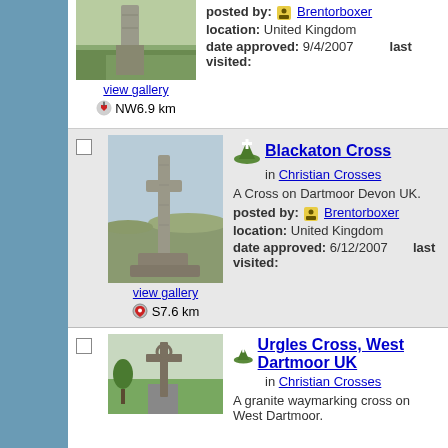[Figure (photo): Partial view of a stone monument/cross on moorland - top section cropped]
view gallery
NW6.9 km
posted by: Brentorboxer
location: United Kingdom
date approved: 9/4/2007
last visited:
[Figure (photo): Blackaton Cross - tall stone cross on Dartmoor moorland]
Blackaton Cross
in Christian Crosses
A Cross on Dartmoor Devon UK.
posted by: Brentorboxer
location: United Kingdom
date approved: 6/12/2007
last visited:
view gallery
S7.6 km
[Figure (photo): Stone cross on West Dartmoor - Urgles Cross]
Urgles Cross, West Dartmoor UK
in Christian Crosses
A granite waymarking cross on West Dartmoor.